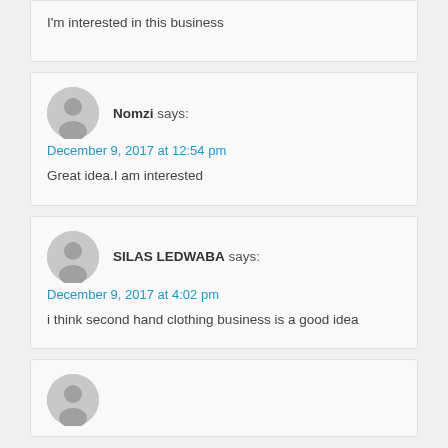I'm interested in this business
Nomzi says:
December 9, 2017 at 12:54 pm
Great idea.I am interested
SILAS LEDWABA says:
December 9, 2017 at 4:02 pm
i think second hand clothing business is a good idea